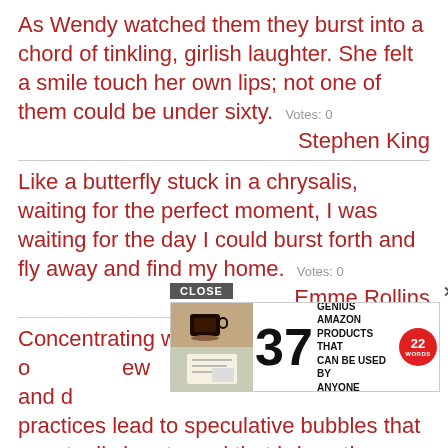As Wendy watched them they burst into a chord of tinkling, girlish laughter. She felt a smile touch her own lips; not one of them could be under sixty.  Votes: 0
Stephen King
Like a butterfly stuck in a chrysalis, waiting for the perfect moment, I was waiting for the day I could burst forth and fly away and find my home.  Votes: 0
Emme Rollins
Concentrating wealth in the hands of a few and d[...] practices lead to speculative bubbles that eventually burst - and that brings the whole
[Figure (other): Advertisement overlay: '37 GENIUS AMAZON PRODUCTS THAT CAN BE USED BY ANYONE' with images of coffee cup and notebook, and a red circular badge with '22 WORDS'. Has a CLOSE button.]